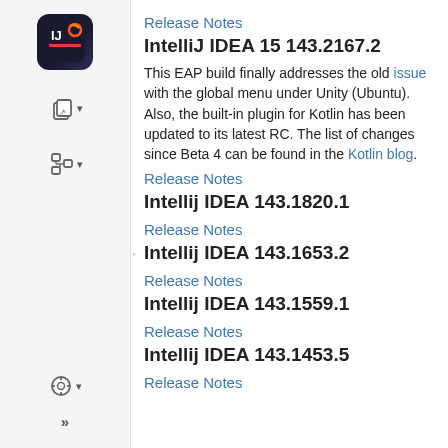[Figure (logo): IntelliJ IDEA logo - dark rounded square with IJ letters in colorful style]
Release Notes
IntelliJ IDEA 15 143.2167.2
This EAP build finally addresses the old issue with the global menu under Unity (Ubuntu). Also, the built-in plugin for Kotlin has been updated to its latest RC. The list of changes since Beta 4 can be found in the Kotlin blog.
Release Notes
Intellij IDEA 143.1820.1
Release Notes
Intellij IDEA 143.1653.2
Release Notes
Intellij IDEA 143.1559.1
Release Notes
Intellij IDEA 143.1453.5
Release Notes